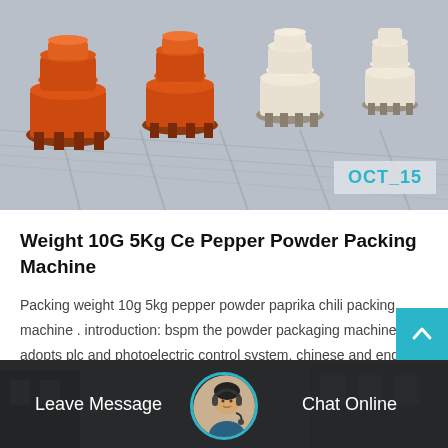[Figure (photo): Industrial orange and white machinery (cone crushers) arranged in rows on a factory floor]
OCT_15
Weight 10G 5Kg Ce Pepper Powder Packing Machine
Packing weight 10g 5kg pepper powder paprika chili packing machine . introduction: bspm the powder packaging machine adopts plc and photoelectric control system, chinese and english touch…
Get Price
[Figure (photo): Customer service representative with headset, circular portrait photo in the footer bar]
Leave Message
Chat Online